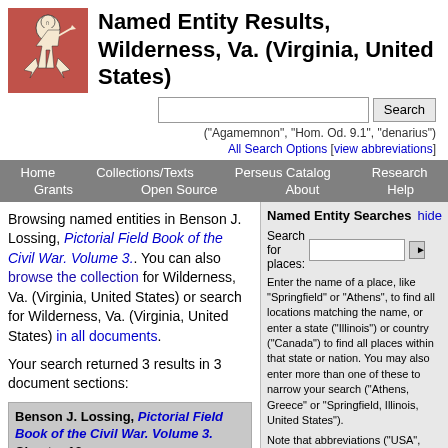[Figure (logo): Perseus Digital Library running figure logo on red/terracotta background]
Named Entity Results, Wilderness, Va. (Virginia, United States)
("Agamemnon", "Hom. Od. 9.1", "denarius")
All Search Options [view abbreviations]
Home   Collections/Texts   Perseus Catalog   Research   Grants   Open Source   About   Help
Browsing named entities in Benson J. Lossing, Pictorial Field Book of the Civil War. Volume 3.. You can also browse the collection for Wilderness, Va. (Virginia, United States) or search for Wilderness, Va. (Virginia, United States) in all documents.
Your search returned 3 results in 3 document sections:
Named Entity Searches   hide
Search for places: [input] [go]
Enter the name of a place, like "Springfield" or "Athens", to find all locations matching the name, or enter a state ("Illinois") or country ("Canada") to find all places within that state or nation. You may also enter more than one of these to narrow your search ("Athens, Greece" or "Springfield, Illinois, United States").
Note that abbreviations ("USA", "Ill.") do not work at present--please stick to full names!
Benson J. Lossing, Pictorial Field Book of the Civil War. Volume 3. Chapter 13: